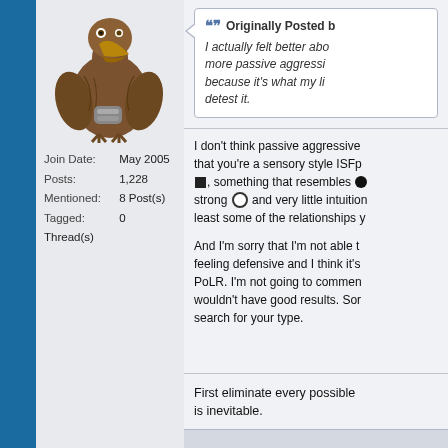[Figure (illustration): A cartoon bird creature (vulture-like) holding a canister, brown feathers, standing upright — forum user avatar]
Join Date: May 2005
Posts: 1,228
Mentioned: 8 Post(s)
Tagged: 0 Thread(s)
Originally Posted by
I actually felt better abo... more passive aggressi... because it's what my li... detest it.
I don't think passive aggressive... that you're a sensory style ISFp... ■, something that resembles ● strong ○ and very little intuition... least some of the relationships y...
And I'm sorry that I'm not able t... feeling defensive and I think it's... PoLR. I'm not going to commen... wouldn't have good results. Sor... search for your type.
First eliminate every possible... is inevitable.